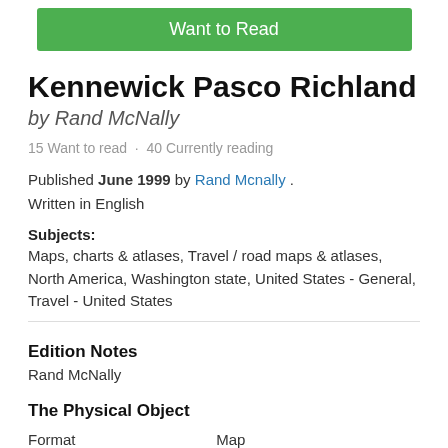Want to Read
Kennewick Pasco Richland
by Rand McNally
15 Want to read · 40 Currently reading
Published June 1999 by Rand Mcnally . Written in English
Subjects:
Maps, charts & atlases, Travel / road maps & atlases, North America, Washington state, United States - General, Travel - United States
Edition Notes
Rand McNally
The Physical Object
| Format |  |
| --- | --- |
| Format | Map |
ID Numbers
| Open Library |  |
| --- | --- |
| Open Library | OL10444553M |